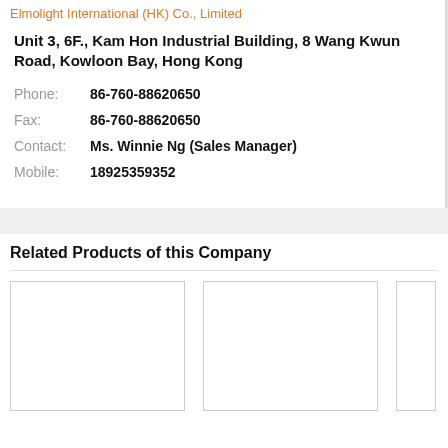Elmolight International (HK) Co., Limited
Unit 3, 6F., Kam Hon Industrial Building, 8 Wang Kwun Road, Kowloon Bay, Hong Kong
Phone: 86-760-88620650
Fax: 86-760-88620650
Contact: Ms. Winnie Ng (Sales Manager)
Mobile: 18925359352
Related Products of this Company
[Figure (other): Three product image placeholders shown as empty white boxes with borders in a horizontal row]